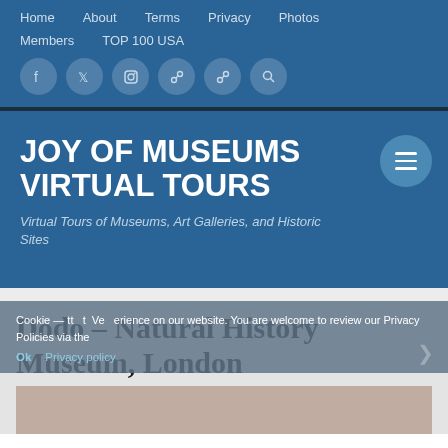Home   About   Terms   Privacy   Photos   Members   TOP 100 USA
JOY OF MUSEUMS VIRTUAL TOURS
Virtual Tours of Museums, Art Galleries, and Historic Sites
Dodo – Natural History Museum, London
Cookie — tt   t  Ve   erience on our website. You are welcome to review our Privacy Policies via the
Ok   Privacy policy